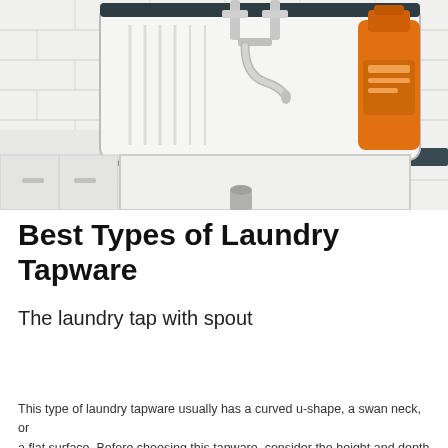[Figure (photo): A white ceramic laundry sink with chrome wall-mounted tapware featuring a curved spout, a dark-rimmed backsplash, white subway tile wall, and an orange laundry detergent bottle on the right side.]
Best Types of Laundry Tapware
The laundry tap with spout
This type of laundry tapware usually has a curved u-shape, a swan neck, or a flat surface. Before choosing this tapware, consider the height and depth of